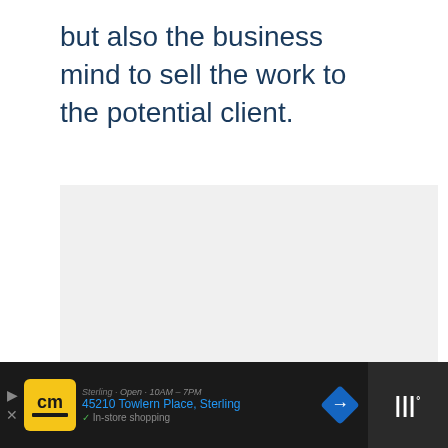but also the business mind to sell the work to the potential client.
[Figure (other): Large image placeholder area with light gray background, three small dots centered at bottom indicating image carousel. On right side: blue circle like button, count '2', white circle share button. Bottom right: 'What's Next' card with thumbnail and text 'Being an Artist: 21+...']
Sterling · 45210 Towlern Place, Sterling · In-store shopping